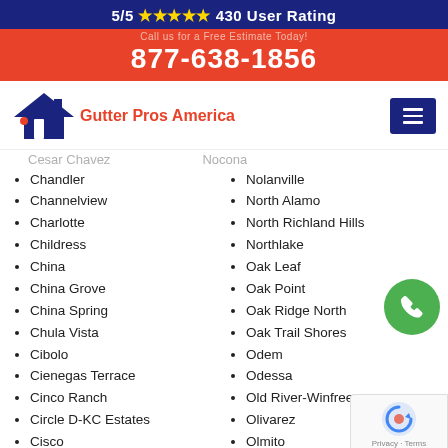5/5 ★★★★★ 430 User Rating
877-638-1856
[Figure (logo): Gutter Pros America logo with house roof icon in dark blue and red dot, text 'Gutter Pros America' in red]
Cesar Chavez / Nocona (cut off at top)
Chandler
Nolanville
Channelview
North Alamo
Charlotte
North Richland Hills
Childress
Northlake
China
Oak Leaf
China Grove
Oak Point
China Spring
Oak Ridge North
Chula Vista
Oak Trail Shores
Cibolo
Odem
Cienegas Terrace
Odessa
Cinco Ranch
Old River-Winfree
Circle D-KC Estates
Olivarez
Cisco
Olmito